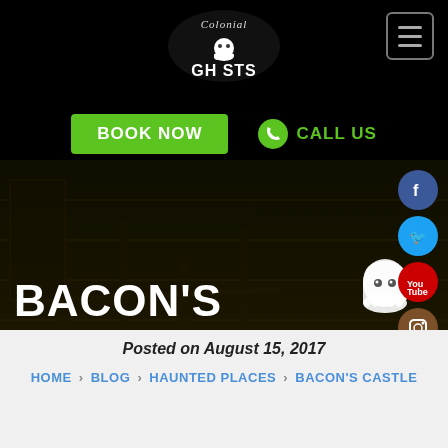[Figure (logo): Colonial Ghosts logo - ghost mascot with spooky lettering in white on black background]
BOOK NOW
CALL US
[Figure (photo): Dark nighttime photo of brick building with wooden fence, haunted atmosphere]
BACON'S CASTLE
Posted on August 15, 2017
HOME › BLOG › HAUNTED PLACES › BACON'S CASTLE